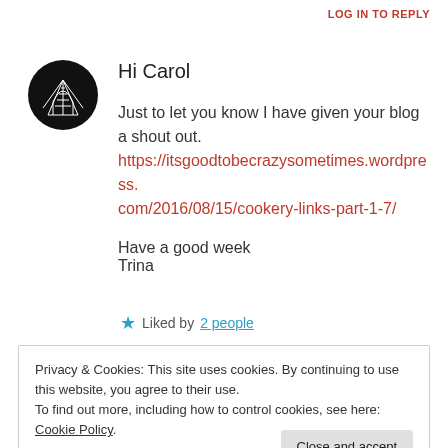LOG IN TO REPLY
[Figure (illustration): Circular black avatar with a geometric white line drawing resembling a building or monument]
Hi Carol
Just to let you know I have given your blog a shout out.
https://itsgoodtobecrazysometimes.wordpress.com/2016/08/15/cookery-links-part-1-7/
Have a good week
Trina
★ Liked by 2 people
Privacy & Cookies: This site uses cookies. By continuing to use this website, you agree to their use.
To find out more, including how to control cookies, see here: Cookie Policy
Close and accept